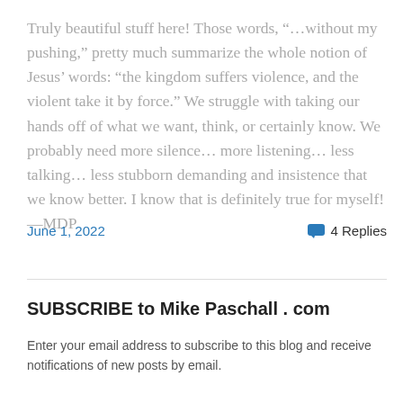Truly beautiful stuff here! Those words, “…without my pushing,” pretty much summarize the whole notion of Jesus’ words: “the kingdom suffers violence, and the violent take it by force.” We struggle with taking our hands off of what we want, think, or certainly know. We probably need more silence… more listening… less talking… less stubborn demanding and insistence that we know better. I know that is definitely true for myself! —MDP
June 1, 2022
4 Replies
SUBSCRIBE to Mike Paschall . com
Enter your email address to subscribe to this blog and receive notifications of new posts by email.